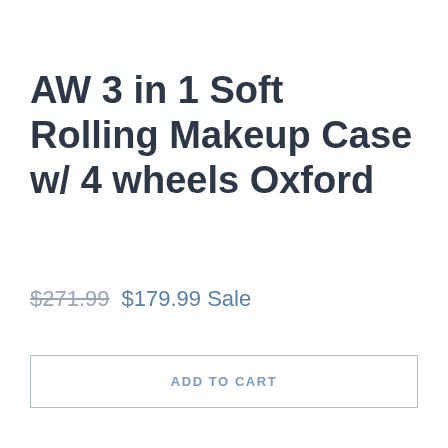AW 3 in 1 Soft Rolling Makeup Case w/ 4 wheels Oxford
$271.99  $179.99 Sale
ADD TO CART